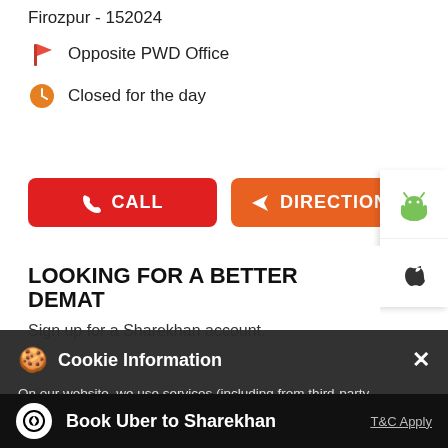Firozpur - 152024
Opposite PWD Office
Closed for the day
CALL
DIRECTIONS
LOOKING FOR A BETTER DEMAT
Sign up for a Sharekhan account.
Cookie Information
On our website, we use services (including from third-party providers) that help us to improve our online presence (optimization of website) and to display content that is geared to their interests. We need your consent before being able to use these services.
Book Uber to Sharekhan
T&C Apply